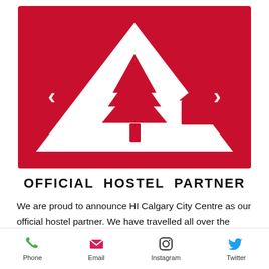[Figure (logo): HI Hostels logo — red square background with white triangle (mountain/roof shape) containing a red pine tree and a red house silhouette]
OFFICIAL HOSTEL PARTNER
We are proud to announce HI Calgary City Centre as our official hostel partner. We have travelled all over the world and have experienced many hostels in our time. HI Calgary City Centre is a beautiful
Phone  Email  Instagram  Twitter